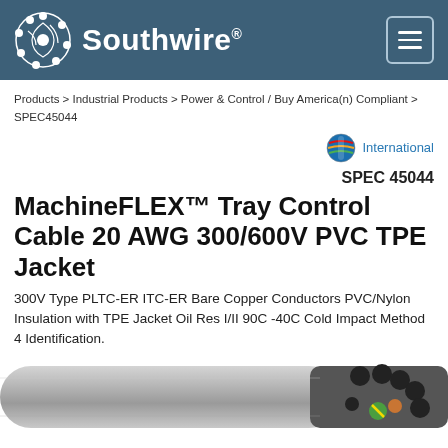[Figure (logo): Southwire logo with circular globe icon and company name in white on dark blue-gray header bar with hamburger menu icon]
Products > Industrial Products > Power & Control / Buy America(n) Compliant > SPEC45044
[Figure (other): Globe icon with colorful country flags representing International link]
SPEC 45044
MachineFLEX™ Tray Control Cable 20 AWG 300/600V PVC TPE Jacket
300V Type PLTC-ER ITC-ER Bare Copper Conductors PVC/Nylon Insulation with TPE Jacket Oil Res I/II 90C -40C Cold Impact Method 4 Identification.
[Figure (photo): Photo of a flexible tray control cable showing gray cylindrical jacket with exposed end revealing multiple black conductors and a green/yellow ground wire]